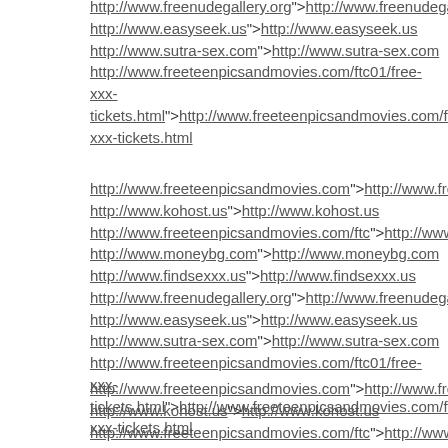http://www.freenudegallery.org">http://www.freenudegallery.org http://www.easyseek.us">http://www.easyseek.us http://www.sutra-sex.com">http://www.sutra-sex.com http://www.freeteenpicsandmovies.com/ftc01/free-xxx-tickets.html">http://www.freeteenpicsandmovies.com/ftc01/free-xxx-tickets.html
http://www.freeteenpicsandmovies.com">http://www.freeteenpicsa http://www.kohost.us">http://www.kohost.us http://www.freeteenpicsandmovies.com/ftc">http://www.freeteenpi http://www.moneybg.com">http://www.moneybg.com http://www.findsexxx.us">http://www.findsexxx.us http://www.freenudegallery.org">http://www.freenudegallery.org http://www.easyseek.us">http://www.easyseek.us http://www.sutra-sex.com">http://www.sutra-sex.com http://www.freeteenpicsandmovies.com/ftc01/free-xxx-tickets.html">http://www.freeteenpicsandmovies.com/ftc01/free-xxx-tickets.html
http://www.freeteenpicsandmovies.com">http://www.freeteenpicsa http://www.kohost.us">http://www.kohost.us http://www.freeteenpicsandmovies.com/ftc">http://www.freeteenpi